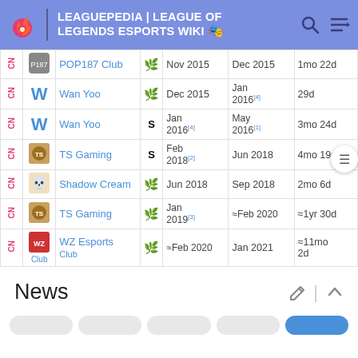LEAGUEPEDIA | LEAGUE OF LEGENDS ESPORTS WIKI
| Region | Logo | Team | Status | Join | Leave | Duration |
| --- | --- | --- | --- | --- | --- | --- |
| CN | POP187 Club logo | POP187 Club | sub | Nov 2015 | Dec 2015 | 1mo 22d |
| CN | Wan Yoo logo | Wan Yoo | sub | Dec 2015 | Jan 2016[4] | 29d |
| CN | Wan Yoo logo | Wan Yoo | S | Jan 2016[4] | May 2016[1] | 3mo 24d |
| CN | TS Gaming logo | TS Gaming | S | Feb 2018[2] | Jun 2018 | 4mo 19d |
| CN | Shadow Cream logo | Shadow Cream | sub | Jun 2018 | Sep 2018 | 2mo 6d |
| CN | TS Gaming logo | TS Gaming | sub | Jan 2019[3] | ≈Feb 2020 | ≈1yr 30d |
| CN | WZ Esports Club logo | WZ Esports Club | sub | ≈Feb 2020 | Jan 2021 | ≈11mo 2d |
News